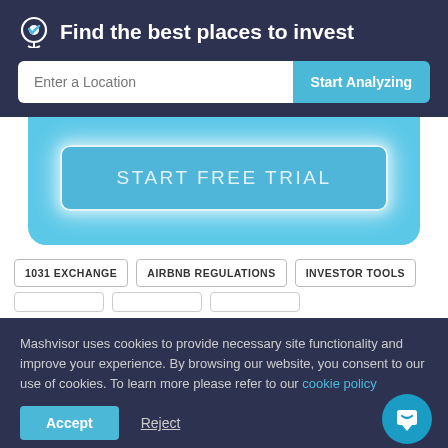Find the best places to invest
Enter a Location
Start Analyzing
START FREE TRIAL
1031 EXCHANGE
AIRBNB REGULATIONS
INVESTOR TOOLS
Mashvisor uses cookies to provide necessary site functionality and improve your experience. By browsing our website, you consent to our use of cookies. To learn more please refer to our cookie policy
Accept
Reject